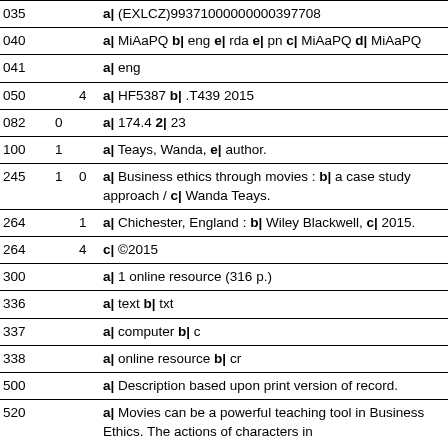| Tag | I1 | I2 | Data |
| --- | --- | --- | --- |
| 035 |  |  | a| (EXLCZ)99371000000000397708 |
| 040 |  |  | a| MiAaPQ b| eng e| rda e| pn c| MiAaPQ d| MiAaPQ |
| 041 |  |  | a| eng |
| 050 |  | 4 | a| HF5387 b| .T439 2015 |
| 082 | 0 |  | a| 174.4 2| 23 |
| 100 | 1 |  | a| Teays, Wanda, e| author. |
| 245 | 1 | 0 | a| Business ethics through movies : b| a case study approach / c| Wanda Teays. |
| 264 |  | 1 | a| Chichester, England : b| Wiley Blackwell, c| 2015. |
| 264 |  | 4 | c| ©2015 |
| 300 |  |  | a| 1 online resource (316 p.) |
| 336 |  |  | a| text b| txt |
| 337 |  |  | a| computer b| c |
| 338 |  |  | a| online resource b| cr |
| 500 |  |  | a| Description based upon print version of record. |
| 520 |  |  | a| Movies can be a powerful teaching tool in Business Ethics. The actions of characters in |